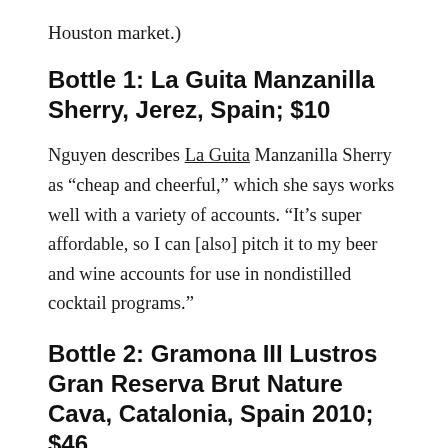Houston market.)
Bottle 1: La Guita Manzanilla Sherry, Jerez, Spain; $10
Nguyen describes La Guita Manzanilla Sherry as “cheap and cheerful,” which she says works well with a variety of accounts. “It’s super affordable, so I can [also] pitch it to my beer and wine accounts for use in nondistilled cocktail programs.”
Bottle 2: Gramona III Lustros Gran Reserva Brut Nature Cava, Catalonia, Spain 2010; $46